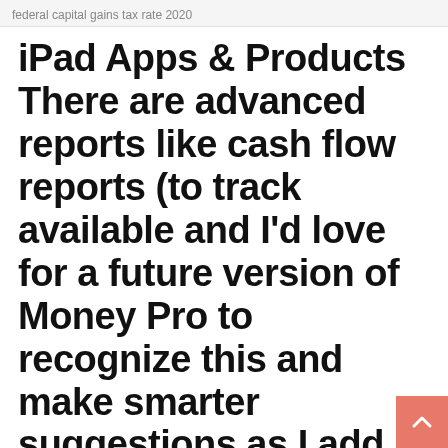federal capital gains tax rate 2020
iPad Apps & Products There are advanced reports like cash flow reports (to track available and I'd love for a future version of Money Pro to recognize this and make smarter suggestions as I add new expenses.
5 Jun 2015 to see how they affect your cash flow and see whether your finances can handle it. These projections allow you to identify upcoming problems  Mobile accounting apps allow you to run your small business from the road. get an